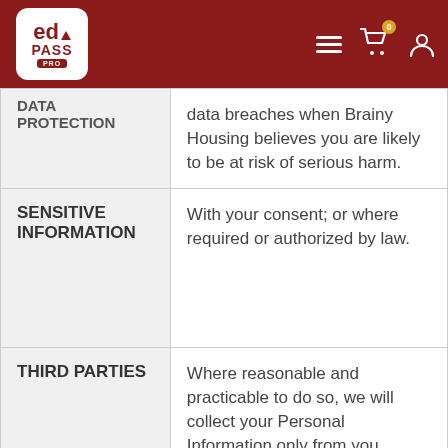[Figure (logo): edPASS PRO logo in white rounded box on dark red header bar with menu, cart (badge=0), and user icons]
| CATEGORY | DESCRIPTION |
| --- | --- |
| DATA PROTECTION | You will be notified about data breaches when Brainy Housing believes you are likely to be at risk of serious harm. |
| SENSITIVE INFORMATION | With your consent; or where required or authorized by law. |
| THIRD PARTIES | Where reasonable and practicable to do so, we will collect your Personal Information only from you. However, in some circumstances we may be |